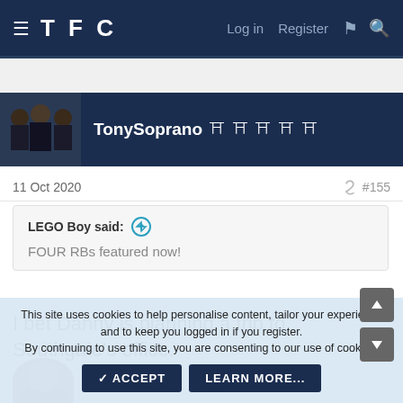TFC  Log in  Register
[Figure (photo): User avatar for TonySoprano showing group of men in suits]
TonySoprano (5 trophy icons)
11 Oct 2020  #155
LEGO Boy said:
FOUR RBs featured now!
I bet Danny is planning a trip to Southgate's office.
[Figure (photo): Partial avatar of a person at bottom of post]
This site uses cookies to help personalise content, tailor your experience and to keep you logged in if you register.
By continuing to use this site, you are consenting to our use of cookies.